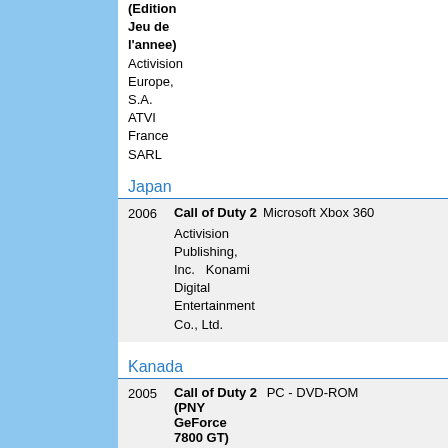(Edition Jeu de l'annee) Activision Europe, S.A. ATVI France SARL
Japan
| Year | Title | Platform |
| --- | --- | --- |
| 2006 | Call of Duty 2 | Microsoft Xbox 360 |
|  | Activision Publishing, Inc.  Konami Digital Entertainment Co., Ltd. |  |
Kanada
| Year | Title | Platform |
| --- | --- | --- |
| 2005 | Call of Duty 2 (PNY GeForce 7800 GT) | PC - DVD-ROM |
|  | Activision Publishing, Inc.  PNY Technologies, Inc. |  |
Thailand
| Year | Title | Platform |
| --- | --- | --- |
| 2005 | Call of | PC - DVD-ROM |